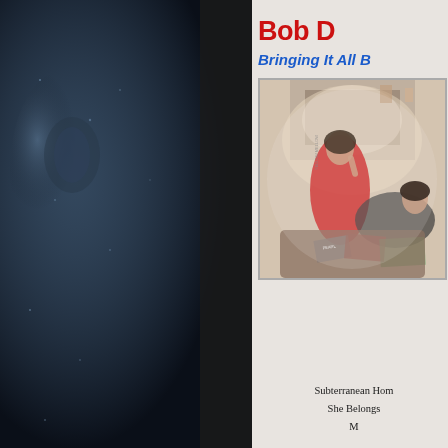[Figure (illustration): Left panel: dark moody background with dark blue-grey gradient, suggesting a figure or atmospheric scene]
Bob D[ylan]
Bringing It All B[ack Home]
[Figure (photo): Album cover photo: woman in red dress seated on couch with man reclining, fireplace in background, magazines scattered around]
Subterranean Hom[esick Blues]
She Belongs [To Me]
M...